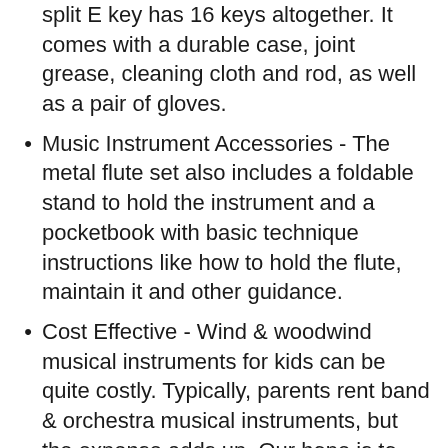split E key has 16 keys altogether. It comes with a durable case, joint grease, cleaning cloth and rod, as well as a pair of gloves.
Music Instrument Accessories - The metal flute set also includes a foldable stand to hold the instrument and a pocketbook with basic technique instructions like how to hold the flute, maintain it and other guidance.
Cost Effective - Wind & woodwind musical instruments for kids can be quite costly. Typically, parents rent band & orchestra musical instruments, but the expense adds up. Our hope is to create affordable flutes for priceless dreams.